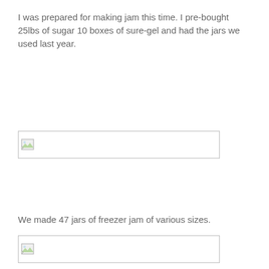I was prepared for making jam this time. I pre-bought 25lbs of sugar 10 boxes of sure-gel and had the jars we used last year.
[Figure (photo): Broken/missing image placeholder — wide horizontal image box with broken image icon]
We made 47 jars of freezer jam of various sizes.
[Figure (photo): Broken/missing image placeholder — wide horizontal image box with broken image icon]